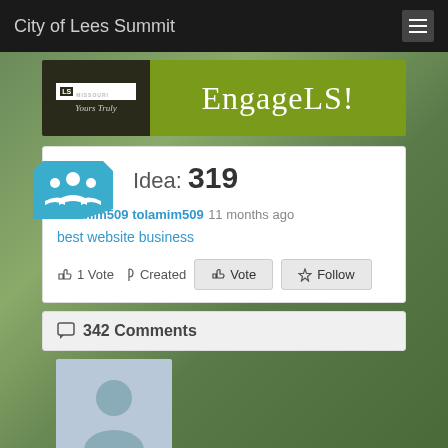City of Lees Summit
[Figure (logo): Lee's Summit Missouri Yours Truly EngageLS! banner logo]
Idea: 319
tolamim509 tolamim509 11 months ago
best website business
1 Vote   Created   Vote   Follow
342 Comments
[Figure (photo): Default user avatar placeholder image]